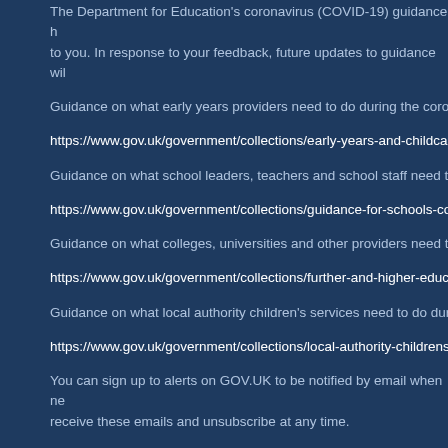The Department for Education's coronavirus (COVID-19) guidance h to you. In response to your feedback, future updates to guidance wil
Guidance on what early years providers need to do during the coron
https://www.gov.uk/government/collections/early-years-and-childcar
Guidance on what school leaders, teachers and school staff need to
https://www.gov.uk/government/collections/guidance-for-schools-cor
Guidance on what colleges, universities and other providers need to
https://www.gov.uk/government/collections/further-and-higher-educa
Guidance on what local authority children's services need to do duri
https://www.gov.uk/government/collections/local-authority-childrens-s
You can sign up to alerts on GOV.UK to be notified by email when ne receive these emails and unsubscribe at any time.
Sign up to GOV.UK updates here:
https://www.gov.uk/email-signup?link=/government/organisations/dep